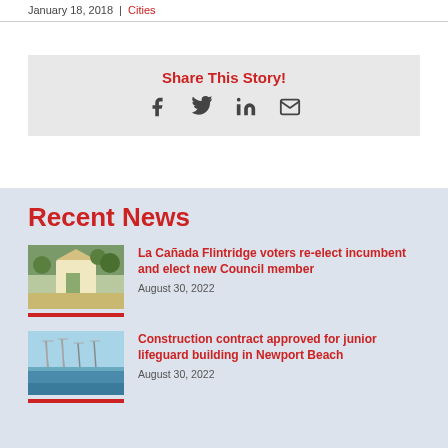January 18, 2018 | Cities
Share This Story!
[Figure (infographic): Social share icons: Facebook, Twitter, LinkedIn, Email]
Recent News
[Figure (photo): La Cañada Flintridge city sign with trees in background]
La Cañada Flintridge voters re-elect incumbent and elect new Council member
August 30, 2022
[Figure (photo): Newport Beach marina with sailboats]
Construction contract approved for junior lifeguard building in Newport Beach
August 30, 2022